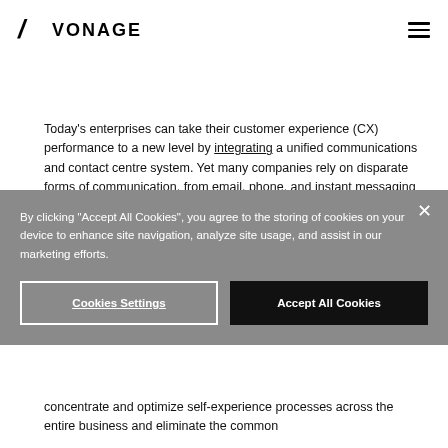VONAGE
Today's enterprises can take their customer experience (CX) performance to a new level by integrating a unified communications and contact centre system. Yet many companies rely on disparate forms of communication, from email, phone, and instant messaging to videoconferences and third-party messaging apps.
By clicking "Accept All Cookies", you agree to the storing of cookies on your device to enhance site navigation, analyze site usage, and assist in our marketing efforts.
Cookies Settings
Accept All Cookies
concentrate and optimize self-experience processes across the entire business and eliminate the common